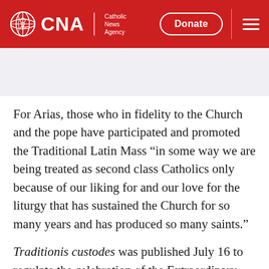CNA Catholic News Agency — Donate
For Arias, those who in fidelity to the Church and the pope have participated and promoted the Traditional Latin Mass “in some way we are being treated as second class Catholics only because of our liking for and our love for the liturgy that has sustained the Church for so many years and has produced so many saints.”
Traditionis custodes was published July 16 to regulate the celebration of the Extraordinary Form of the Roman Rite. With this document,